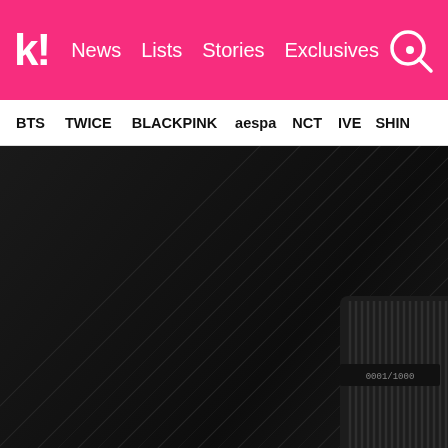k! News Lists Stories Exclusives
BTS  TWICE  BLACKPINK  aespa  NCT  IVE  SHINee
[Figure (photo): Dark abstract photo of diagonal metallic lines with a numbered limited edition card in the center reading 0001/1000]
| @hyundaicard/Instagram
V recently shared a photo of his Black card on Twitter, along with a cute selfie with his dog